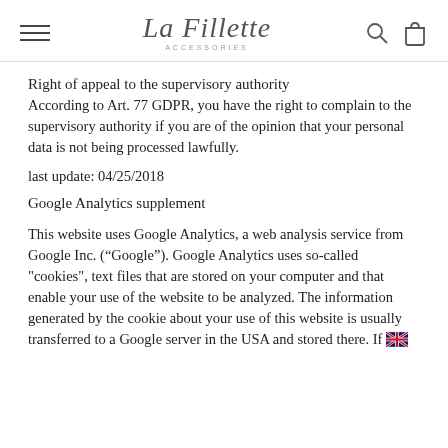La Fillette ACCESSORIES
Right of appeal to the supervisory authority
According to Art. 77 GDPR, you have the right to complain to the supervisory authority if you are of the opinion that your personal data is not being processed lawfully.
last update: 04/25/2018
Google Analytics supplement
This website uses Google Analytics, a web analysis service from Google Inc. (“Google”). Google Analytics uses so-called "cookies", text files that are stored on your computer and that enable your use of the website to be analyzed. The information generated by the cookie about your use of this website is usually transferred to a Google server in the USA and stored there. If [flag]